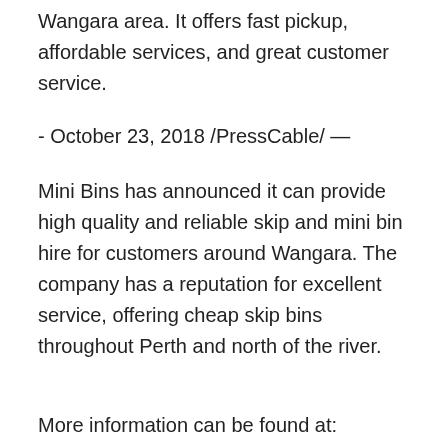Wangara area. It offers fast pickup, affordable services, and great customer service.
- October 23, 2018 /PressCable/ —
Mini Bins has announced it can provide high quality and reliable skip and mini bin hire for customers around Wangara. The company has a reputation for excellent service, offering cheap skip bins throughout Perth and north of the river.
More information can be found at:
http://minibinsnorth.com.au